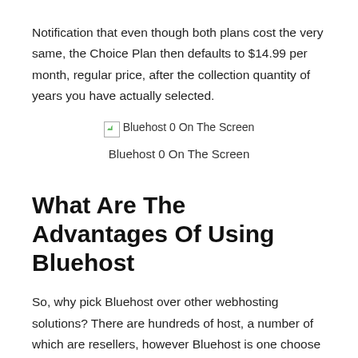Notification that even though both plans cost the very same, the Choice Plan then defaults to $14.99 per month, regular price, after the collection quantity of years you have actually selected.
[Figure (screenshot): Broken image placeholder with alt text 'Bluehost 0 On The Screen']
Bluehost 0 On The Screen
What Are The Advantages Of Using Bluehost
So, why pick Bluehost over other webhosting solutions? There are hundreds of host, a number of which are resellers, however Bluehost is one choose few that have stood the test of time, and